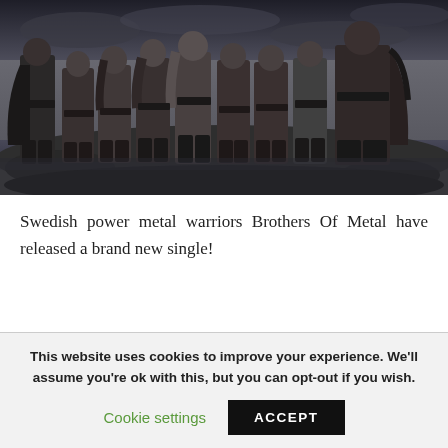[Figure (photo): Black and white photo of a group of people dressed as Viking/metal warriors standing on rocks near water with a dramatic cloudy sky background. The group consists of approximately 9 people wearing medieval/fantasy costumes with fur, leather, and exposed midriffs.]
Swedish power metal warriors Brothers Of Metal have released a brand new single!
This website uses cookies to improve your experience. We'll assume you're ok with this, but you can opt-out if you wish.
Cookie settings
ACCEPT